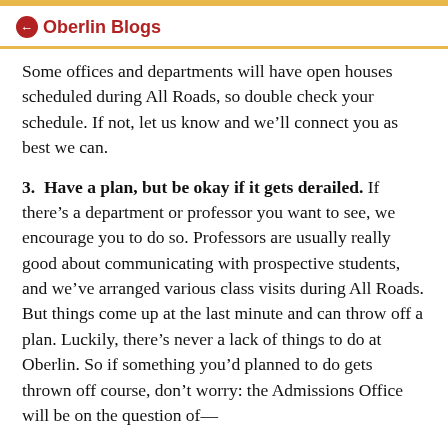← Oberlin Blogs
Some offices and departments will have open houses scheduled during All Roads, so double check your schedule. If not, let us know and we'll connect you as best we can.
3. Have a plan, but be okay if it gets derailed. If there's a department or professor you want to see, we encourage you to do so. Professors are usually really good about communicating with prospective students, and we've arranged various class visits during All Roads. But things come up at the last minute and can throw off a plan. Luckily, there's never a lack of things to do at Oberlin. So if something you'd planned to do gets thrown off course, don't worry: the Admissions Office will be on the question of—